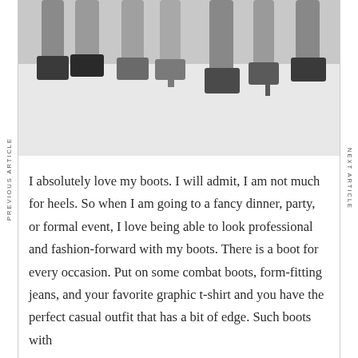[Figure (photo): Photo of multiple pairs of women's legs wearing various styles of boots (combat boots, ankle boots, heeled boots, knee-high boots) against a light gray background, legs raised in the air]
I absolutely love my boots. I will admit, I am not much for heels. So when I am going to a fancy dinner, party, or formal event, I love being able to look professional and fashion-forward with my boots. There is a boot for every occasion. Put on some combat boots, form-fitting jeans, and your favorite graphic t-shirt and you have the perfect casual outfit that has a bit of edge. Such boots with
PREVIOUS ARTICLE
NEXT ARTICLE